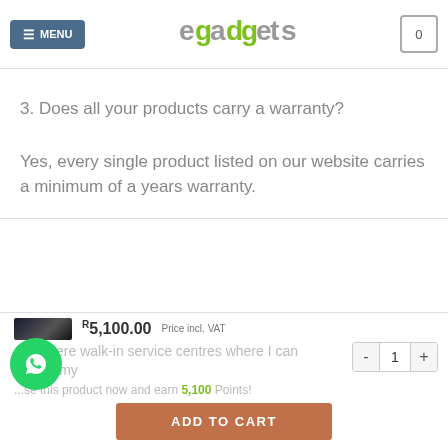egadgets — MENU / Cart
3. Does all your products carry a warranty?
Yes, every single product listed on our website carries a minimum of a years warranty.
R5,100.00 Price incl. VAT
4. Is there walk-in service centres where I can take in my...
...se this product now and earn 5,100 Points!
ADD TO CART